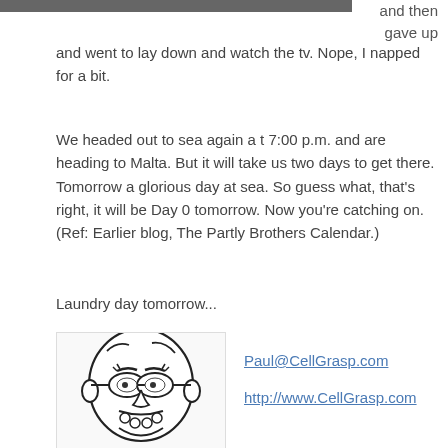[Figure (photo): Partial top edge of a photograph, cut off at the top of the page]
and then gave up and went to lay down and watch the tv. Nope, I napped for a bit.
We headed out to sea again a t 7:00 p.m. and are heading to Malta. But it will take us two days to get there. Tomorrow a glorious day at sea. So guess what, that's right, it will be Day 0 tomorrow. Now you're catching on. (Ref: Earlier blog, The Partly Brothers Calendar.)
Laundry day tomorrow...
[Figure (illustration): Black and white cartoon illustration of a bald man with glasses and a beard]
Paul@CellGrasp.com
http://www.CellGrasp.com